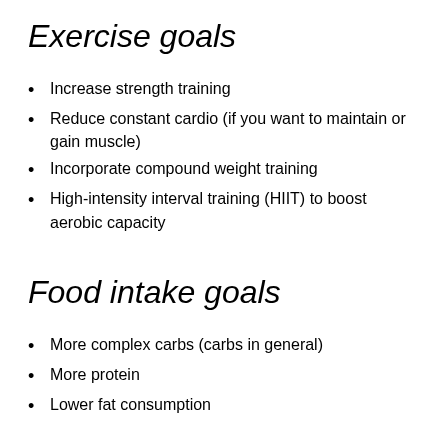Exercise goals
Increase strength training
Reduce constant cardio (if you want to maintain or gain muscle)
Incorporate compound weight training
High-intensity interval training (HIIT) to boost aerobic capacity
Food intake goals
More complex carbs (carbs in general)
More protein
Lower fat consumption